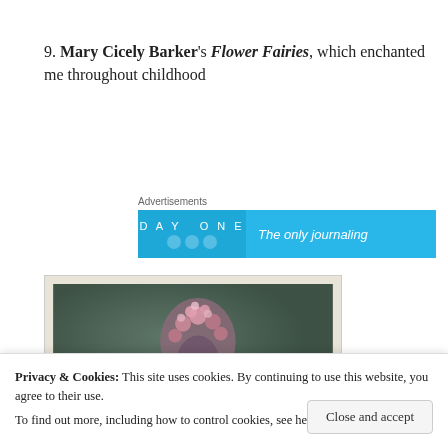9. Mary Cicely Barker's Flower Fairies, which enchanted me throughout childhood
Advertisements
[Figure (screenshot): DayOne app advertisement banner: blue background with 'DAY ONE' text and circles on left, 'The only journaling' text on right]
[Figure (photo): Book cover image showing Flower Fairies illustration with a fairy figure made of flowers against a dark background, in a cream/beige frame]
Privacy & Cookies: This site uses cookies. By continuing to use this website, you agree to their use.
To find out more, including how to control cookies, see here: Cookie Policy